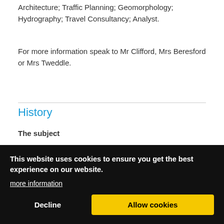Architecture; Traffic Planning; Geomorphology; Hydrography; Travel Consultancy; Analyst.
For more information speak to Mr Clifford, Mrs Beresford or Mrs Tweddle.
History
The subject
History is the best subject in The World (in Mr Squire's opinion). History fires pupils' curiosity and imagination, moving them to ask searching questions about the past. It helps them to understand the complexity of people's lives, the diversity of societies and the relationships between different groups, as well as their own identity and the challenges of their time. pupils find out about the British, European and the world and develop a chronological overview that enables them to make connections within and across
This website uses cookies to ensure you get the best experience on our website.
more information
Decline
Allow cookies